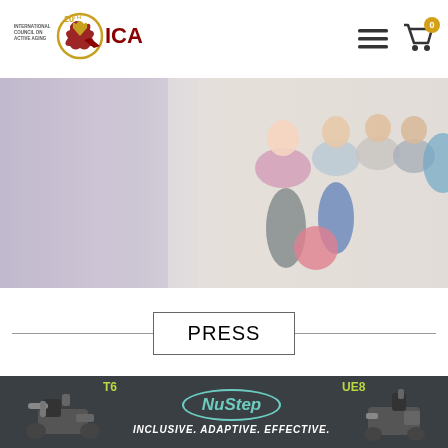[Figure (logo): ICAA - International Council on Active Aging 20th anniversary logo with golden eagle and maroon/gold text]
[Figure (photo): Group of adults exercising in a gym/fitness class; woman in pink tank top in foreground, others jogging behind, pink exercise ball visible]
PRESS
2009 press releases
[Figure (infographic): NuStep advertisement banner with dark background showing T6 and UE8 recumbent cross trainers and text: INCLUSIVE. ADAPTIVE. EFFECTIVE.]